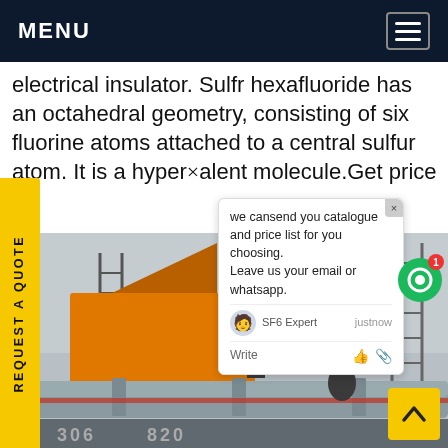MENU
electrical insulator. Sulfr hexafluoride has an octahedral geometry, consisting of six fluorine atoms attached to a central sulfur atom. It is a hypervalent molecule.Get price
[Figure (photo): Industrial electrical substation scene with orange truck/container, industrial chimneys, metal tower structures, large pipes, and a worker in yellow hard hat. Numbers 306 and 820 visible at bottom left.]
we cansend you catalogue and price list for you choosing.
Leave us your email or whatsapp.
SF6 Expert   justnow
Write